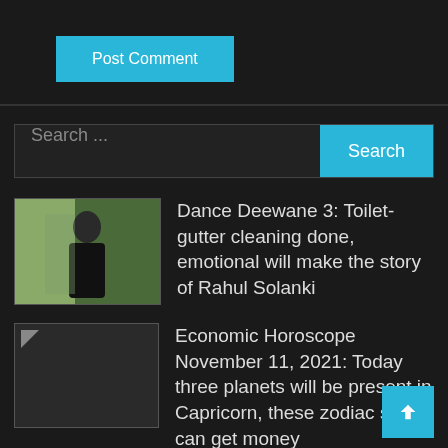[Figure (other): Post Comment button — cyan/blue rectangular button with white text]
[Figure (other): Search bar with text input showing 'Search ...' placeholder and a cyan Search button on the right]
[Figure (photo): Thumbnail photo of a young man in a black t-shirt in an indoor setting]
Dance Deewane 3: Toilet-gutter cleaning done, emotional will make the story of Rahul Solanki
[Figure (other): Broken/placeholder image thumbnail (small arrow icon on dark background)]
Economic Horoscope November 11, 2021: Today three planets will be present in Capricorn, these zodiac signs can get money